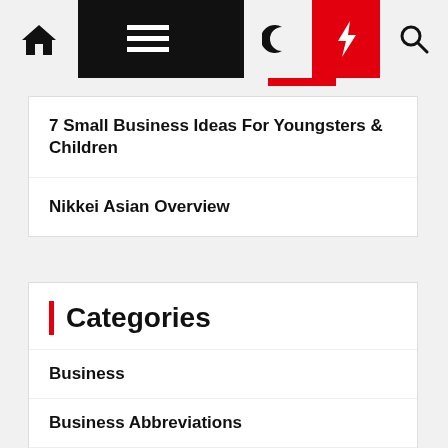Navigation bar with home, menu, moon, bolt, search icons
7 Small Business Ideas For Youngsters & Children
Nikkei Asian Overview
Categories
Business
Business Abbreviations
Business Accounting
Business Advice
Business Analysts